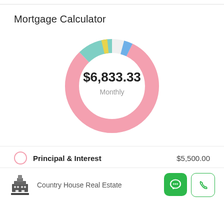Mortgage Calculator
[Figure (donut-chart): $6,833.33 Monthly]
Principal & Interest    $5,500.00
Country House Real Estate